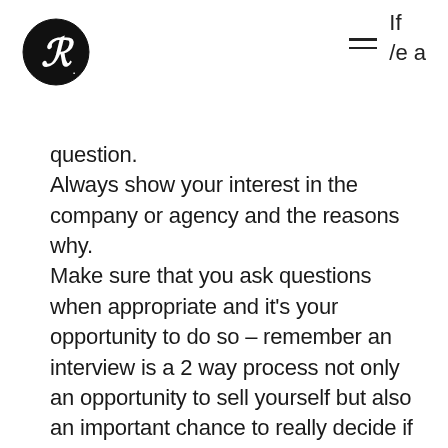[Figure (logo): Circular black logo with stylized R letter inside]
If ≡ /e a
question.
Always show your interest in the company or agency and the reasons why.
Make sure that you ask questions when appropriate and it’s your opportunity to do so – remember an interview is a 2 way process not only an opportunity to sell yourself but also an important chance to really decide if this is the move you really want to be making. The actual questions you ask the interviewer can matter as much as the responses. They demonstrate how forward thinking you are, and